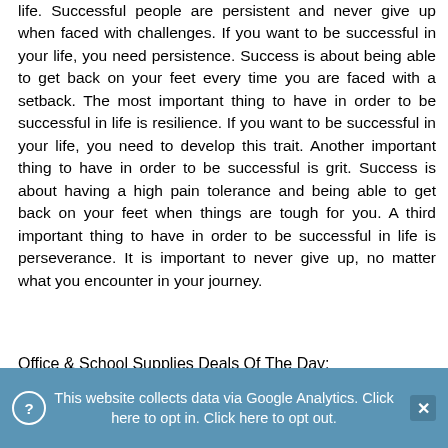life. Successful people are persistent and never give up when faced with challenges. If you want to be successful in your life, you need persistence. Success is about being able to get back on your feet every time you are faced with a setback. The most important thing to have in order to be successful in life is resilience. If you want to be successful in your life, you need to develop this trait. Another important thing to have in order to be successful is grit. Success is about having a high pain tolerance and being able to get back on your feet when things are tough for you. A third important thing to have in order to be successful in life is perseverance. It is important to never give up, no matter what you encounter in your journey.
Office & School Supplies Deals Of The Day:
[Figure (photo): Pink and teal scissors product image]
Scissors, QMVESS 8.5" Multipurpose Scissors for Office 3-Pack Ultra :
$7.99  $10.69  prime
Back to Top
This website collects data via Google Analytics. Click here to opt in. Click here to opt out.